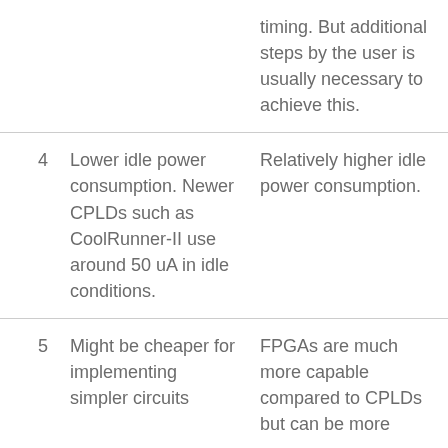| # | CPLD | FPGA |
| --- | --- | --- |
|  | timing. But additional steps by the user is usually necessary to achieve this. |  |
| 4 | Lower idle power consumption. Newer CPLDs such as CoolRunner-II use around 50 uA in idle conditions. | Relatively higher idle power consumption. |
| 5 | Might be cheaper for implementing simpler circuits | FPGAs are much more capable compared to CPLDs but can be more |